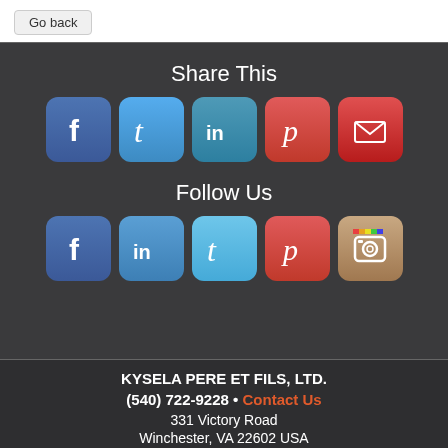Go back
Share This
[Figure (infographic): Row of social media share icons: Facebook (dark blue), Twitter (light blue), LinkedIn (teal/blue), Pinterest (red), Gmail/email (red with envelope)]
Follow Us
[Figure (infographic): Row of social media follow icons: Facebook (dark blue), LinkedIn (blue), Twitter (light blue), Pinterest (red), Instagram (camera icon with colorful top bar)]
KYSELA PERE ET FILS, LTD.
(540) 722-9228 • Contact Us
331 Victory Road
Winchester, VA 22602 USA